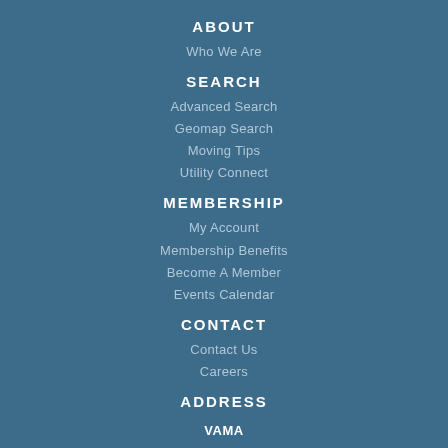ABOUT
Who We Are
SEARCH
Advanced Search
Geomap Search
Moving Tips
Utility Connect
MEMBERSHIP
My Account
Membership Benefits
Become A Member
Events Calendar
CONTACT
Contact Us
Careers
ADDRESS
VAMA
2812 Emerywood Pkwy
Suite 231